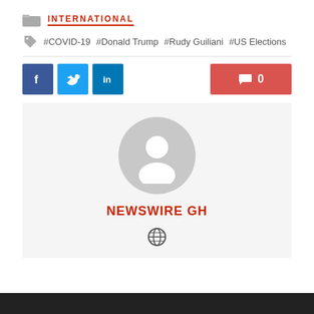INTERNATIONAL
#COVID-19  #Donald Trump  #Rudy Guiliani  #US Elections
[Figure (screenshot): Social share buttons: Facebook (blue), Twitter (light blue), LinkedIn (dark blue), and a red comment button showing 0]
[Figure (photo): Author profile card with gray placeholder avatar circle, red bold text NEWSWIRE GH, and a globe icon below on a light gray background]
[Figure (other): Dark/black bar at the bottom of the page]